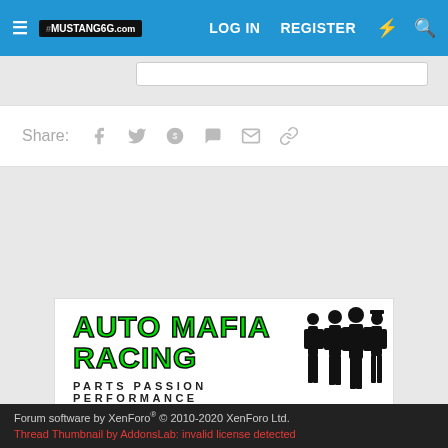MUSTANG6G.com  LOG IN  REGISTER
Share:
[Figure (screenshot): Auto Mafia Racing advertisement banner - green text 'AUTO MAFIA RACING' with tagline 'PARTS PASSION PERFORMANCE' and silhouette of figures in suits]
< Shelby GT500 Mustang
Forum software by XenForo® © 2010-2020 XenForo Ltd.
Thread Thumbnail by AddonsLab: invalid license detected